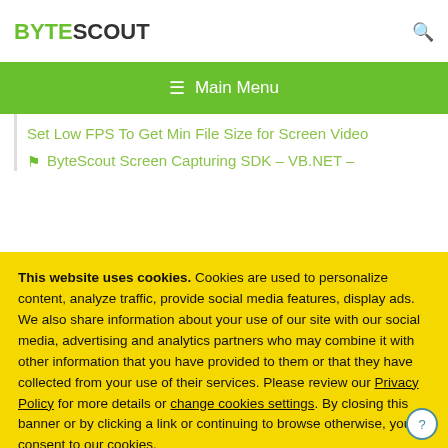BYTESCOUT
≡  Main Menu
Set Low FPS To Get Min File Size for Screen Video
ByteScout Screen Capturing SDK – VB.NET –
This website uses cookies. Cookies are used to personalize content, analyze traffic, provide social media features, display ads. We also share information about your use of our site with our social media, advertising and analytics partners who may combine it with other information that you have provided to them or that they have collected from your use of their services. Please review our Privacy Policy for more details or change cookies settings. By closing this banner or by clicking a link or continuing to browse otherwise, you consent to our cookies.
OK